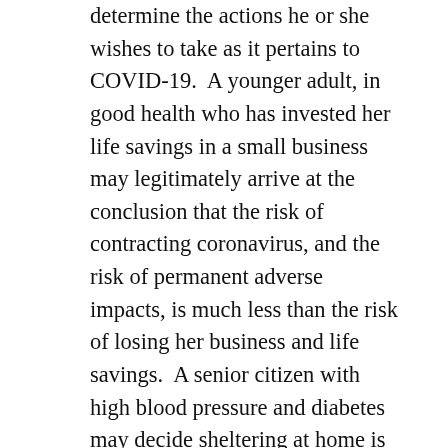determine the actions he or she wishes to take as it pertains to COVID-19.  A younger adult, in good health who has invested her life savings in a small business may legitimately arrive at the conclusion that the risk of contracting coronavirus, and the risk of permanent adverse impacts, is much less than the risk of losing her business and life savings.  A senior citizen with high blood pressure and diabetes may decide sheltering at home is the safer alternative. When people decide they have more important priorities than hiding from a virus, particularly if the virus is unlikely to cause them significant harm, no one has the right to prevent them from engaging in the activities of their choice. Likewise, a person who may be at high risk of